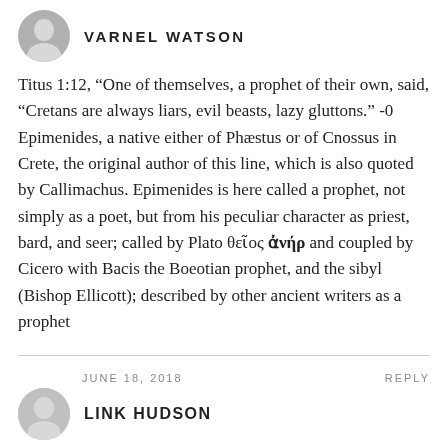VARNEL WATSON
Titus 1:12, “One of themselves, a prophet of their own, said, “Cretans are always liars, evil beasts, lazy gluttons.” -0 Epimenides, a native either of Phæstus or of Cnossus in Crete, the original author of this line, which is also quoted by Callimachus. Epimenides is here called a prophet, not simply as a poet, but from his peculiar character as priest, bard, and seer; called by Plato θεῖος ἀνήρ and coupled by Cicero with Bacis the Boeotian prophet, and the sibyl (Bishop Ellicott); described by other ancient writers as a prophet
JUNE 18, 2018
REPLY
LINK HUDSON